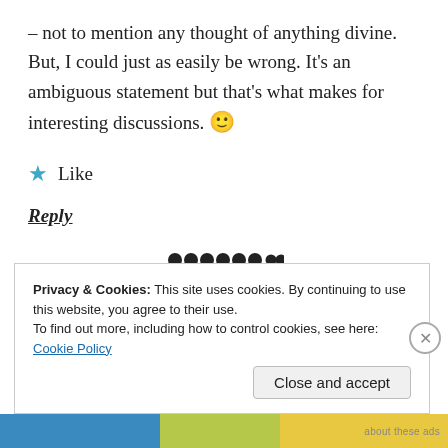– not to mention any thought of anything divine. But, I could just as easily be wrong. It's an ambiguous statement but that's what makes for interesting discussions. 🙂
★ Like
Reply
[Figure (other): A row of 9 dark decorative dots used as a section separator]
Privacy & Cookies: This site uses cookies. By continuing to use this website, you agree to their use.
To find out more, including how to control cookies, see here: Cookie Policy
Close and accept